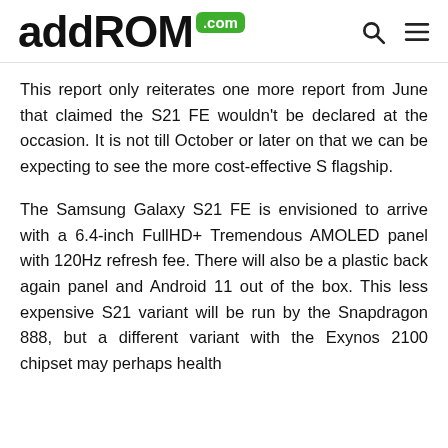addROM.com
This report only reiterates one more report from June that claimed the S21 FE wouldn't be declared at the occasion. It is not till October or later on that we can be expecting to see the more cost-effective S flagship.
The Samsung Galaxy S21 FE is envisioned to arrive with a 6.4-inch FullHD+ Tremendous AMOLED panel with 120Hz refresh fee. There will also be a plastic back again panel and Android 11 out of the box. This less expensive S21 variant will be run by the Snapdragon 888, but a different variant with the Exynos 2100 chipset may perhaps health